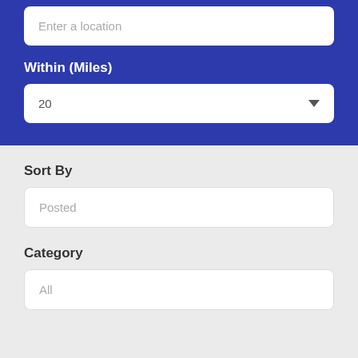Enter a location
Within (Miles)
20
Sort By
Posted
Category
All
Salary From
Any